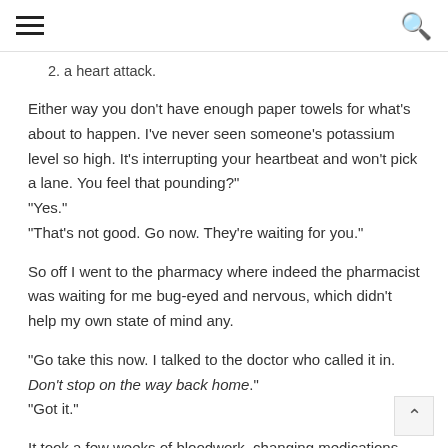hamburger menu | search
2. a heart attack.
Either way you don't have enough paper towels for what's about to happen. I've never seen someone's potassium level so high. It's interrupting your heartbeat and won't pick a lane. You feel that pounding?"
"Yes."
"That's not good. Go now. They're waiting for you."
So off I went to the pharmacy where indeed the pharmacist was waiting for me bug-eyed and nervous, which didn't help my own state of mind any.
"Go take this now. I talked to the doctor who called it in. Don't stop on the way back home."
"Got it."
It took a few weeks of bloodwork, changing medications, experimenting, a 48-hour heart monitor, more tests, and a